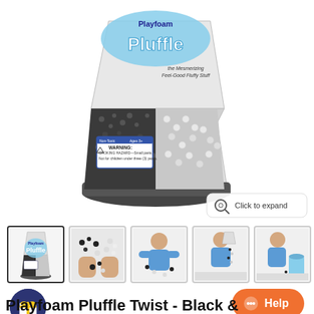[Figure (photo): Main product image of Playfoam Pluffle Twist - Black & White, showing a hourglass-shaped clear package with black foam beads on one side and white/silver foam beads on the other side, with the Playfoam Pluffle logo and warning label visible. A 'Click to expand' button is in the bottom-right corner.]
[Figure (photo): Row of 5 product thumbnail images: 1) the packaged product, 2) hands playing with black and white foam beads scattered on surface, 3) child in blue top playing with the foam beads, 4) child pouring foam beads from package, 5) child posing with foam beads and small container]
[Figure (illustration): Dark blue circular gift/reward icon button on bottom left]
[Figure (illustration): Orange pill-shaped Help chat button on bottom right with ellipsis icon]
Playfoam Pluffle Twist - Black &